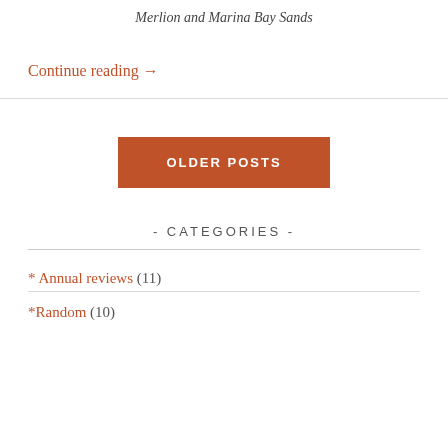Merlion and Marina Bay Sands
Continue reading →
OLDER POSTS
- CATEGORIES -
* Annual reviews (11)
*Random (10)